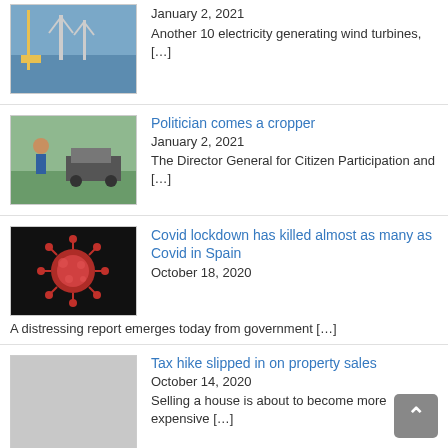[Figure (photo): Wind turbines in the sea]
January 2, 2021
Another 10 electricity generating wind turbines, […]
[Figure (photo): Politician beside a car]
Politician comes a cropper
January 2, 2021
The Director General for Citizen Participation and […]
[Figure (photo): Covid coronavirus image on black background]
Covid lockdown has killed almost as many as Covid in Spain
October 18, 2020
A distressing report emerges today from government […]
[Figure (photo): Grey placeholder image]
Tax hike slipped in on property sales
October 14, 2020
Selling a house is about to become more expensive […]
[Figure (photo): Grey placeholder image for rats article]
The rats came for the water
September 28, 2020